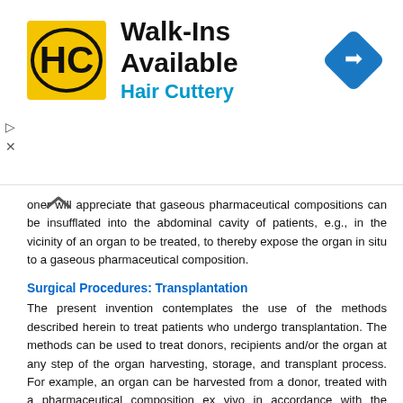[Figure (other): Advertisement banner for Hair Cuttery with logo, 'Walk-Ins Available' heading, 'Hair Cuttery' subtitle in blue, and a blue diamond-shaped navigation arrow icon on the right.]
oner will appreciate that gaseous pharmaceutical compositions can be insufflated into the abdominal cavity of patients, e.g., in the vicinity of an organ to be treated, to thereby expose the organ in situ to a gaseous pharmaceutical composition.
Surgical Procedures: Transplantation
The present invention contemplates the use of the methods described herein to treat patients who undergo transplantation. The methods can be used to treat donors, recipients and/or the organ at any step of the organ harvesting, storage, and transplant process. For example, an organ can be harvested from a donor, treated with a pharmaceutical composition ex vivo in accordance with the present invention, and transplanted into a recipient. Alternatively or in addition, the organ can be treated in situ, while still in the donor (by treatment of the donor or by treating the organ). Optionally, a pharmaceutical composition can be administered to the recipient prior to, during, and/or after the surgery, e.g., after the organ is reperfused with the recipient's blood. The composition can be administered to the donor prior to or during the process of harvesting the organ from the donor.